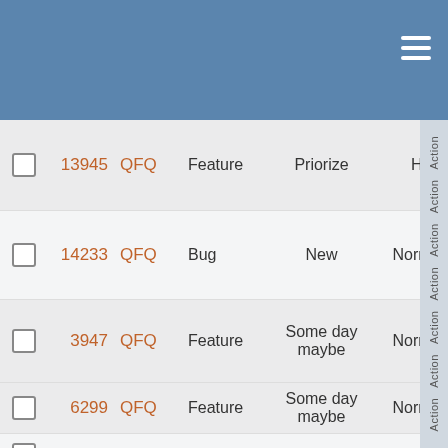|  | ID | Project | Type | Status | Priority | Action |
| --- | --- | --- | --- | --- | --- | --- |
| ☐ | 13945 | QFQ | Feature | Priorize | High |  |
| ☐ | 14233 | QFQ | Bug | New | Normal |  |
| ☐ | 3947 | QFQ | Feature | Some day maybe | Normal |  |
| ☐ | 6299 | QFQ | Feature | Some day maybe | Normal |  |
| ☐ | 11522 | QFQ | Bug | New | Normal |  |
| ☐ | 10890 | QFQ | Bug | New | Normal |  |
| ☐ | 4250 | QFQ | Feature | New | Normal |  |